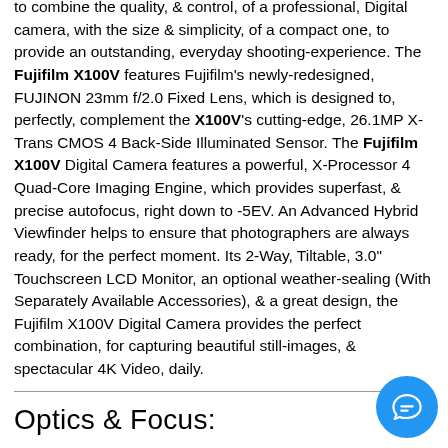to combine the quality, & control, of a professional, Digital camera, with the size & simplicity, of a compact one, to provide an outstanding, everyday shooting-experience. The Fujifilm X100V features Fujifilm's newly-redesigned, FUJINON 23mm f/2.0 Fixed Lens, which is designed to, perfectly, complement the X100V's cutting-edge, 26.1MP X-Trans CMOS 4 Back-Side Illuminated Sensor. The Fujifilm X100V Digital Camera features a powerful, X-Processor 4 Quad-Core Imaging Engine, which provides superfast, & precise autofocus, right down to -5EV. An Advanced Hybrid Viewfinder helps to ensure that photographers are always ready, for the perfect moment. Its 2-Way, Tiltable, 3.0" Touchscreen LCD Monitor, an optional weather-sealing (With Separately Available Accessories), & a great design, the Fujifilm X100V Digital Camera provides the perfect combination, for capturing beautiful still-images, & spectacular 4K Video, daily.
Optics & Focus:
Optics:
The Fujifilm X100V Digital Camera features Fujifilm's redesigned FUJINON 23mm f/2 Lens, which includes two, new, aspherical elements, for an improvement in sharpness & clarity, via the